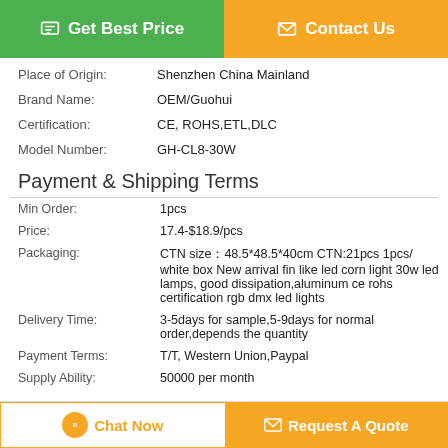[Figure (other): Green 'Get Best Price' button and orange 'Contact Us' button at top]
| Place of Origin: | Shenzhen China Mainland |
| Brand Name: | OEM/Guohui |
| Certification: | CE, ROHS,ETL,DLC |
| Model Number: | GH-CL8-30W |
Payment & Shipping Terms
| Min Order: | 1pcs |
| Price: | 17.4-$18.9/pcs |
| Packaging: | CTN size：48.5*48.5*40cm CTN:21pcs 1pcs/ white box New arrival fin like led corn light 30w led lamps, good dissipation,aluminum ce rohs certification rgb dmx led lights |
| Delivery Time: | 3-5days for sample,5-9days for normal order,depends the quantity |
| Payment Terms: | T/T, Western Union,Paypal |
| Supply Ability: | 50000 per month |
[Figure (other): Bottom bar with 'Chat Now' and 'Request A Quote' buttons]